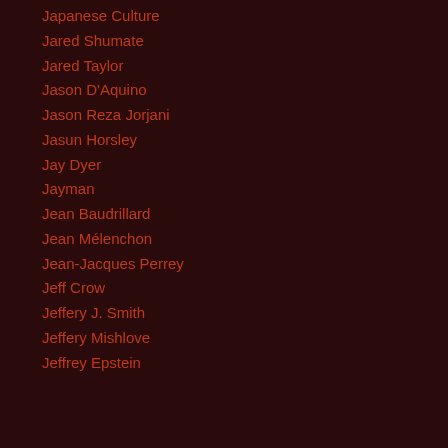Japanese Culture
Jared Shumate
Jared Taylor
Jason D'Aquino
Jason Reza Jorjani
Jasun Horsley
Jay Dyer
Jayman
Jean Baudrillard
Jean Mélenchon
Jean-Jacques Perrey
Jeff Crow
Jeffery J. Smith
Jeffery Mishlove
Jeffrey Epstein